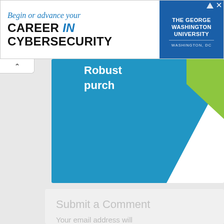[Figure (screenshot): Advertisement banner for The George Washington University cybersecurity program. Left side shows italic blue text 'Begin or advance your' and bold black text 'CAREER in CYBERSECURITY'. Right side shows a blue box with 'THE GEORGE WASHINGTON UNIVERSITY WASHINGTON, DC'.]
[Figure (illustration): Partial graphic showing a blue diagonal shape and a green triangle on a white background, partially visible below the banner. Text 'Robust purch' visible at top.]
Submit a Comment
Your email address will not be published.